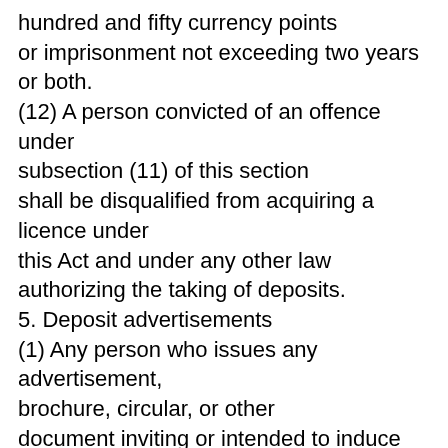hundred and fifty currency points or imprisonment not exceeding two years or both. (12) A person convicted of an offence under subsection (11) of this section shall be disqualified from acquiring a licence under this Act and under any other law authorizing the taking of deposits.
5. Deposit advertisements
(1) Any person who issues any advertisement, brochure, circular, or other document inviting or intended to induce any person to make a deposit which—
(a) falsely represents that he or she is authorised to accept deposits or is otherwise licensed under this Act;
(b) is contrary to the regulations issued by the Central Bank under this section,
commits an offence under this Act and is liable on